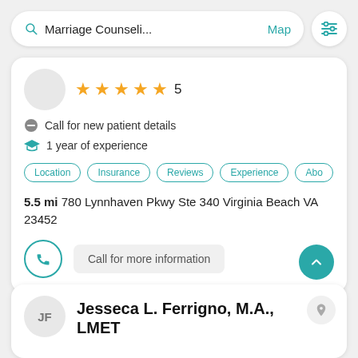[Figure (screenshot): Search bar with 'Marriage Counseli...' text, Map link, and filter icon]
★★★★★ 5
Call for new patient details
1 year of experience
Location  Insurance  Reviews  Experience  Abo
5.5 mi 780 Lynnhaven Pkwy Ste 340 Virginia Beach VA 23452
Call for more information
Jesseca L. Ferrigno, M.A., LMET